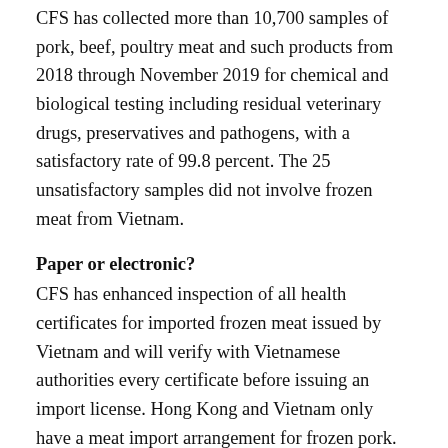CFS has collected more than 10,700 samples of pork, beef, poultry meat and such products from 2018 through November 2019 for chemical and biological testing including residual veterinary drugs, preservatives and pathogens, with a satisfactory rate of 99.8 percent. The 25 unsatisfactory samples did not involve frozen meat from Vietnam.
Paper or electronic?
CFS has enhanced inspection of all health certificates for imported frozen meat issued by Vietnam and will verify with Vietnamese authorities every certificate before issuing an import license. Hong Kong and Vietnam only have a meat import arrangement for frozen pork.
The agency has enhanced testing of related products